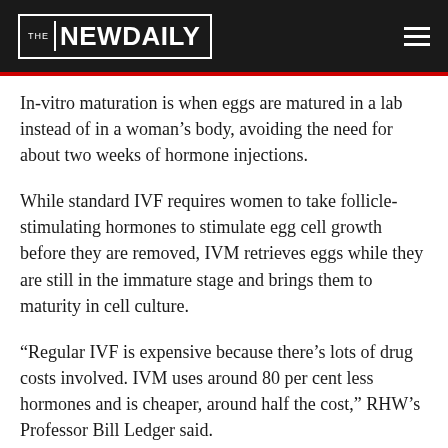THE NEW DAILY
In-vitro maturation is when eggs are matured in a lab instead of in a woman's body, avoiding the need for about two weeks of hormone injections.
While standard IVF requires women to take follicle-stimulating hormones to stimulate egg cell growth before they are removed, IVM retrieves eggs while they are still in the immature stage and brings them to maturity in cell culture.
“Regular IVF is expensive because there’s lots of drug costs involved. IVM uses around 80 per cent less hormones and is cheaper, around half the cost,” RHW’s Professor Bill Ledger said.
“A woman can walk into the clinic on Monday, have two